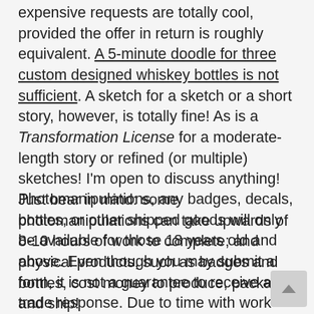expensive requests are totally cool, provided the offer in return is roughly equivalent. A 5-minute doodle for three custom designed whiskey bottles is not sufficient. A sketch for a sketch or a short story, however, is totally fine! As is a Transformation License for a moderate-length story or refined (or multiple) sketches! I'm open to discuss anything! Just bear in mind: some photomanipulations can take upwards of 8-10 hours of work to complete; and physical products, such as badges and bottles, cost money to produce, package, and ship!
Photomanipulations, any badges, decals, bottles, or other shipped goods will only be available for those 18 years old and above. Even though you may submit a form, it is not a guarantee to receive a trade response. Due to time with work and other factors, I can't accept everyone, apologies! Content-wise, I am willing to being about this opinion some of the